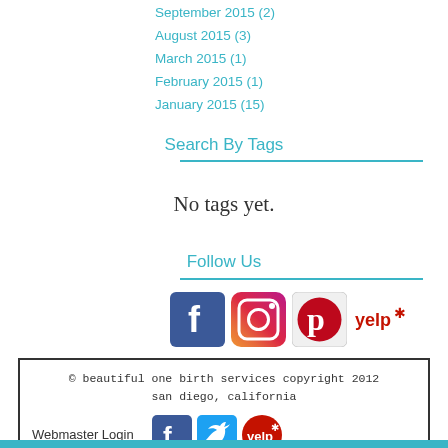September 2015 (2)
August 2015 (3)
March 2015 (1)
February 2015 (1)
January 2015 (15)
Search By Tags
No tags yet.
Follow Us
[Figure (logo): Facebook, Instagram, Pinterest, and Yelp social media icons]
© beautiful one birth services copyright 2012 san diego, california
Webmaster Login
[Figure (logo): Facebook, Twitter, and Yelp icons in footer box]